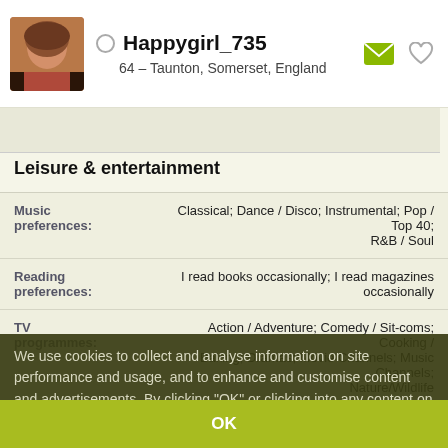Happygirl_735 — 64 – Taunton, Somerset, England
Leisure & entertainment
| Field | Value |
| --- | --- |
| Music preferences: | Classical; Dance / Disco; Instrumental; Pop / Top 40; R&B / Soul |
| Reading preferences: | I read books occasionally; I read magazines occasionally |
| TV programmes: | Action / Adventure; Comedy / Sit-coms; Cooking / Baking; Dramas; Movie Channels; Music Channels; Nature/Wildlife |
| Movie preferences: | Action; Comedy; Romance |
| Interests: | Cooking; Gardening; Healthy living; Music; Voluntary |
We use cookies to collect and analyse information on site performance and usage, and to enhance and customise content and advertisements. By clicking "OK" or clicking into any content on this site you agree to allow cookies to be placed. To find out more or to change your cookie settings, visit the cookies section of our Privacy Policy.
OK